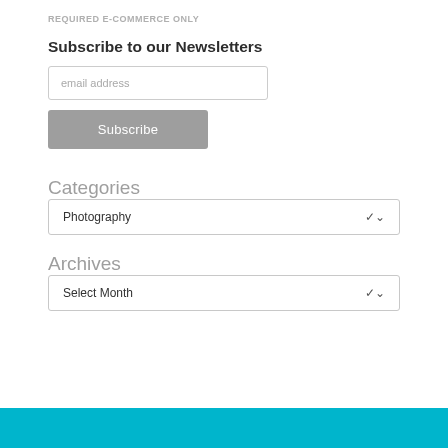REQUIRED E-COMMERCE ONLY
Subscribe to our Newsletters
email address
Subscribe
Categories
Photography
Archives
Select Month